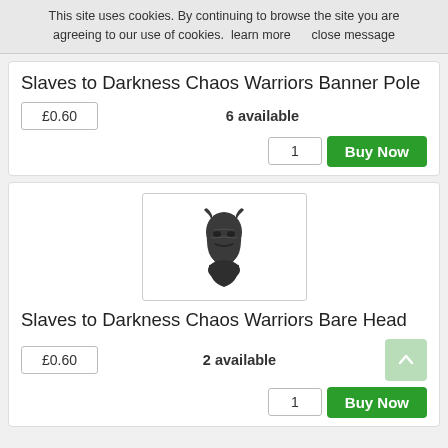This site uses cookies. By continuing to browse the site you are agreeing to our use of cookies.  learn more     close message
Slaves to Darkness Chaos Warriors Banner Pole
£0.60   6 available
1   Buy Now
[Figure (photo): Dark miniature fantasy head/helmet piece for Slaves to Darkness Chaos Warriors Bare Head]
Slaves to Darkness Chaos Warriors Bare Head
£0.60   2 available
1   Buy Now